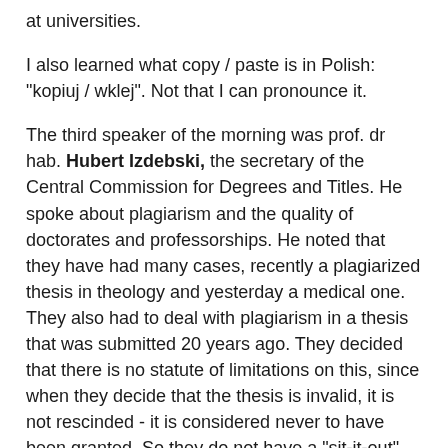at universities.
I also learned what copy / paste is in Polish: "kopiuj / wklej". Not that I can pronounce it.
The third speaker of the morning was prof. dr hab. Hubert Izdebski, the secretary of the Central Commission for Degrees and Titles. He spoke about plagiarism and the quality of doctorates and professorships. He noted that they have had many cases, recently a plagiarized thesis in theology and yesterday a medical one. They also had to deal with plagiarism in a thesis that was submitted 20 years ago. They decided that there is no statute of limitations on this, since when they decide that the thesis is invalid, it is not rescinded - it is considered never to have been granted. So they do not have a "sit-it-out" policy such as was just recently suggested by Wolfgang Löwer in Germany, who thinks that if you've had your doctorate for 10 years, you get to keep it, even if it was plagiarized.
There is a definition of plagiarism in the legal code, but he had issues with this, saying that no one understands what